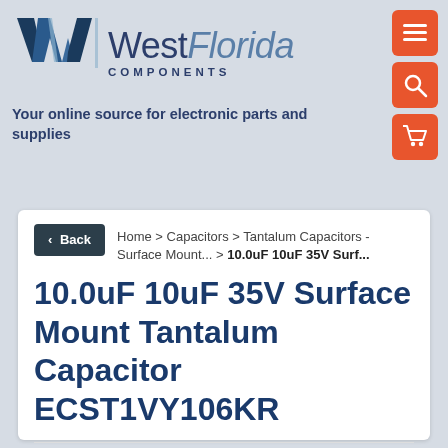[Figure (logo): West Florida Components logo with stylized W and blue lettering]
Your online source for electronic parts and supplies
[Figure (other): Navigation icons: hamburger menu, search, and shopping cart, orange rounded square buttons]
< Back   Home > Capacitors > Tantalum Capacitors - Surface Mount... > 10.0uF 10uF 35V Surf...
10.0uF 10uF 35V Surface Mount Tantalum Capacitor ECST1VY106KR